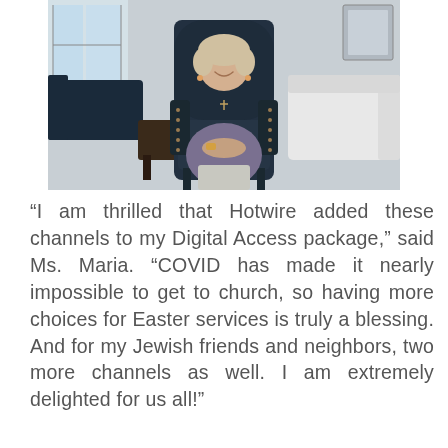[Figure (photo): An older woman with short blonde hair smiling, seated in a large dark navy wingback armchair with nail head trim, wearing a gray long-sleeve top and light gray pants, in a living room setting with white sofas and a dark coffee table in the background.]
“I am thrilled that Hotwire added these channels to my Digital Access package,” said Ms. Maria. “COVID has made it nearly impossible to get to church, so having more choices for Easter services is truly a blessing. And for my Jewish friends and neighbors, two more channels as well. I am extremely delighted for us all!”